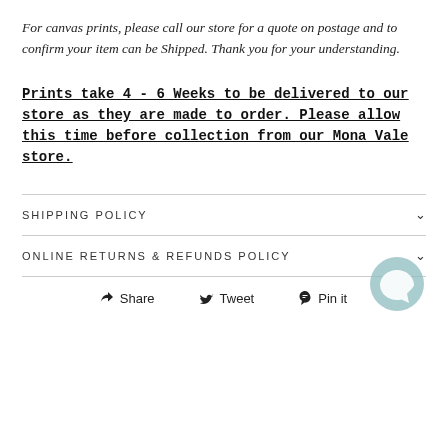For canvas prints, please call our store for a quote on postage and to confirm your item can be Shipped. Thank you for your understanding.
Prints take 4 - 6 Weeks to be delivered to our store as they are made to order. Please allow this time before collection from our Mona Vale store.
SHIPPING POLICY
ONLINE RETURNS & REFUNDS POLICY
Share   Tweet   Pin it